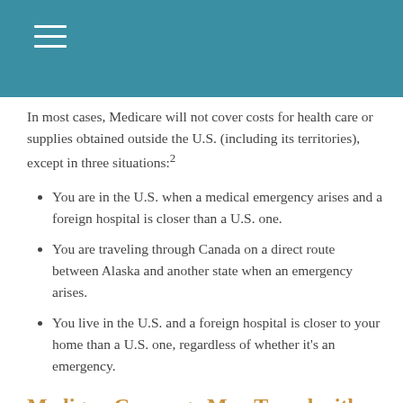In most cases, Medicare will not cover costs for health care or supplies obtained outside the U.S. (including its territories), except in three situations:2
You are in the U.S. when a medical emergency arises and a foreign hospital is closer than a U.S. one.
You are traveling through Canada on a direct route between Alaska and another state when an emergency arises.
You live in the U.S. and a foreign hospital is closer to your home than a U.S. one, regardless of whether it's an emergency.
Medigap Coverage May Travel with You
Medigap is supplemental insurance sold by private insurance